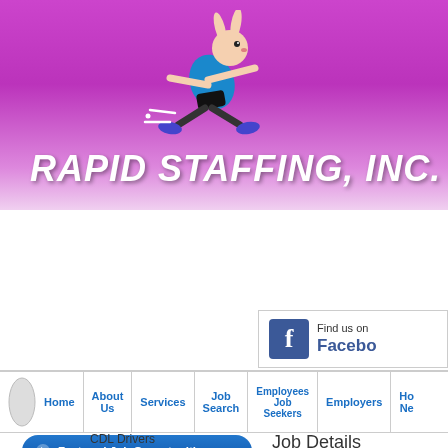[Figure (logo): Rapid Staffing Inc. logo with running rabbit mascot on purple/magenta gradient banner background]
[Figure (screenshot): Facebook 'Find us on Facebook' button widget in top right area]
[Figure (screenshot): Navigation bar with Home, About Us, Services, Job Search, Employees Job Seekers, Employers, Ho... (more nav items cut off)]
[Figure (screenshot): Featured Job Opportunities button (blue pill-shaped button with play icon)]
CDL Drivers
Job Details